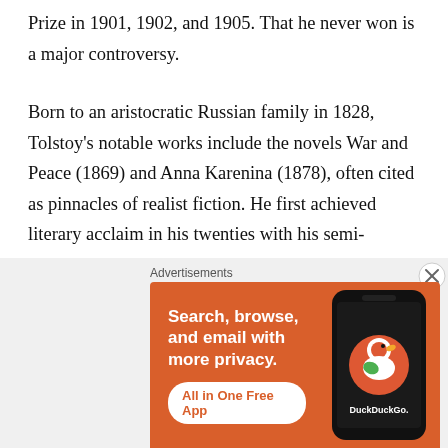Prize in 1901, 1902, and 1905. That he never won is a major controversy.
Born to an aristocratic Russian family in 1828, Tolstoy's notable works include the novels War and Peace (1869) and Anna Karenina (1878), often cited as pinnacles of realist fiction. He first achieved literary acclaim in his twenties with his semi-autobiographical trilogy, Childhood, Boyhood, and Youth (1852–1856), and Sevastopol Sketches (1855), based upon his experiences in the Crimean War. His fiction includes
[Figure (other): DuckDuckGo advertisement banner showing phone mockup with text 'Search, browse, and email with more privacy. All in One Free App' and DuckDuckGo logo, with a close (X) button overlay.]